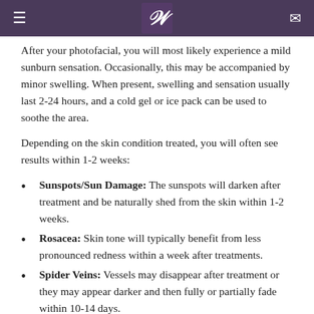≡  𝒲  ✉
After your photofacial, you will most likely experience a mild sunburn sensation. Occasionally, this may be accompanied by minor swelling. When present, swelling and sensation usually last 2-24 hours, and a cold gel or ice pack can be used to soothe the area.
Depending on the skin condition treated, you will often see results within 1-2 weeks:
Sunspots/Sun Damage: The sunspots will darken after treatment and be naturally shed from the skin within 1-2 weeks.
Rosacea: Skin tone will typically benefit from less pronounced redness within a week after treatments.
Spider Veins: Vessels may disappear after treatment or they may appear darker and then fully or partially fade within 10-14 days.
When you meet with Dr. Will, he can explain the process he uses for IPL Photofacials